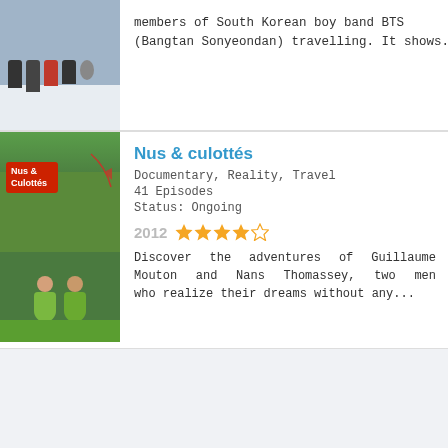members of South Korean boy band BTS (Bangtan Sonyeondan) travelling. It shows...
[Figure (photo): Group of people posing in a snowy outdoor setting, partial crop of a show thumbnail]
Nus & culottés
Documentary, Reality, Travel
41 Episodes
Status: Ongoing
2012  ★★★★☆
Discover the adventures of Guillaume Mouton and Nans Thomassey, two men who realize their dreams without any...
[Figure (photo): Show poster for Nus & Culottés showing two people in leaf skirts in a green outdoor setting, with red badge logo]